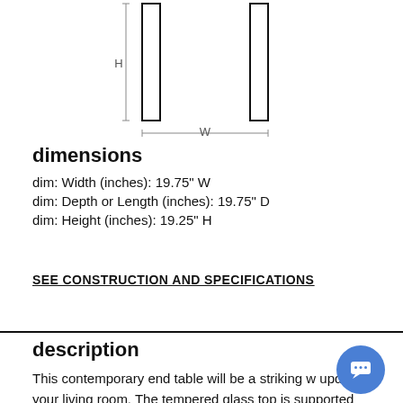[Figure (schematic): Engineering schematic showing two vertical rectangular columns (front view) with dimension lines: H indicating height on the left column and W indicating width between the two columns at the bottom.]
dimensions
dim: Width (inches): 19.75" W
dim: Depth or Length (inches): 19.75" D
dim: Height (inches): 19.25" H
SEE CONSTRUCTION AND SPECIFICATIONS
description
This contemporary end table will be a striking w update your living room. The tempered glass top is supported by a metal frame with swooping accents. The